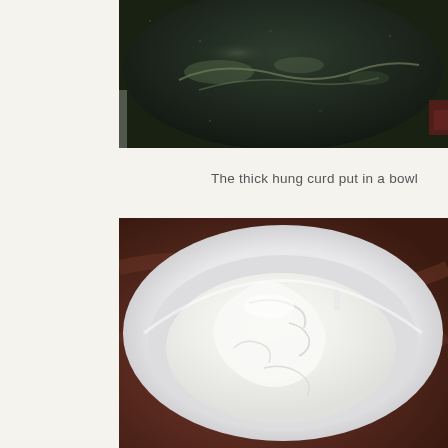[Figure (photo): Close-up of a dark, oxidized or burnt pan/bowl viewed from above, showing a wet, glistening surface with some reddish tones at the edges]
The thick hung curd put in a bowl
[Figure (photo): A white ceramic bowl containing a large mound of thick hung curd (strained yogurt), placed on a dark brown marbled surface, photographed from above at a slight angle]